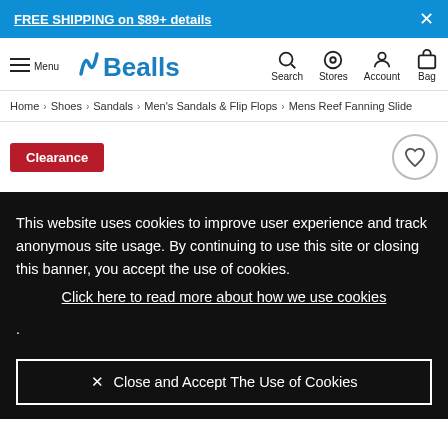FREE SHIPPING on $89+ details
[Figure (logo): Bealls logo with stylized N icon in blue]
Home > Shoes > Sandals > Men's Sandals & Flip Flops > Mens Reef Fanning Slide
Clearance
This website uses cookies to improve user experience and track anonymous site usage. By continuing to use this site or closing this banner, you accept the use of cookies. Click here to read more about how we use cookies .
Close and Accept The Use of Cookies